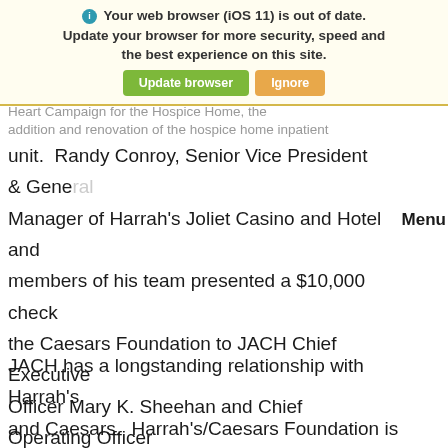Your web browser (iOS 11) is out of date. Update your browser for more security, speed and the best experience on this site. [Update browser] [Ignore]
Heart Campaign for the Hospice Home, the addition and renovation of the hospice home inpatient
unit.  Randy Conroy, Senior Vice President & General Manager of Harrah's Joliet Casino and Hotel and members of his team presented a $10,000 check the Caesars Foundation to JACH Chief Executive Officer Mary K. Sheehan and Chief Operating Officer Cindy Brassea. After the check presentation, the Harrah's executives toured the existing inpatient unit and learned more about all the improvements and changes to come.
JACH has a longstanding relationship with Harrah's and Caesars.  Harrah's/Caesars Foundation is responsible for JACH's paved labyrinth walk and